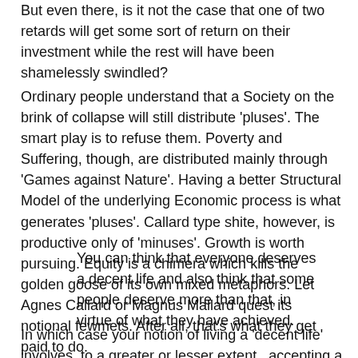But even there, is it not the case that one of two retards will get some sort of return on their investment while the rest will have been shamelessly swindled?
Ordinary people understand that a Society on the brink of collapse will still distribute 'pluses'. The smart play is to refuse them. Poverty and Suffering, though, are distributed mainly through 'Games against Nature'. Having a better Structural Model of the underlying Economic process is what generates 'pluses'. Callard type shite, however, is productive only of 'minuses'. Growth is worth pursuing. Equity is a chimera which kills the golden goose of its own mixed metaphors. Let Agnes Callard or Magnus Mallard quest its notional fewmets. After all, that's what they get paid to do.
You can think that everyone deserves a decent life and also think that some people deserve more than that, in virtue of what they have achieved.
In which case your notion of living a 'decent life' involves, to a greater or lesser extent, accepting a deferential Society. At